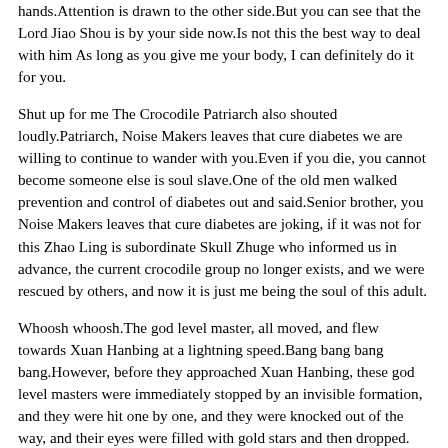hands.Attention is drawn to the other side.But you can see that the Lord Jiao Shou is by your side now.Is not this the best way to deal with him As long as you give me your body, I can definitely do it for you.
Shut up for me The Crocodile Patriarch also shouted loudly.Patriarch, Noise Makers leaves that cure diabetes we are willing to continue to wander with you.Even if you die, you cannot become someone else is soul slave.One of the old men walked prevention and control of diabetes out and said.Senior brother, you Noise Makers leaves that cure diabetes are joking, if it was not for this Zhao Ling is subordinate Skull Zhuge who informed us in advance, the current crocodile group no longer exists, and we were rescued by others, and now it is just me being the soul of this adult.
Whoosh whoosh.The god level master, all moved, and flew towards Xuan Hanbing at a lightning speed.Bang bang bang bang.However, before they approached Xuan Hanbing, these god level masters were immediately stopped by an invisible formation, and they were hit one by one, and they were knocked out of the way, and their eyes were filled with gold stars and then dropped.
Well, someone.Zhao Ling, who received Broken Sword to enhance Shenyou Minyue, noticed a very faint coldness.He hid it very well.If Noise Makers leaves that cure diabetes it were not for Broken Sword is integration, he would not have been able to detect